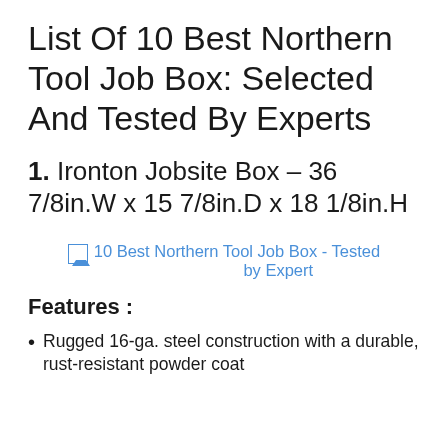List Of 10 Best Northern Tool Job Box: Selected And Tested By Experts
1. Ironton Jobsite Box – 36 7/8in.W x 15 7/8in.D x 18 1/8in.H
[Figure (photo): Broken image placeholder with link text: 10 Best Northern Tool Job Box - Tested by Expert]
Features :
Rugged 16-ga. steel construction with a durable, rust-resistant powder coat